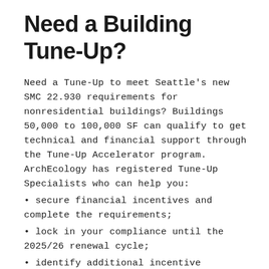Need a Building Tune-Up?
Need a Tune-Up to meet Seattle’s new SMC 22.930 requirements for nonresidential buildings? Buildings 50,000 to 100,000 SF can qualify to get technical and financial support through the Tune-Up Accelerator program. ArchEcology has registered Tune-Up Specialists who can help you:
secure financial incentives and complete the requirements;
lock in your compliance until the 2025/26 renewal cycle;
identify additional incentive programs if you want to target more extensive